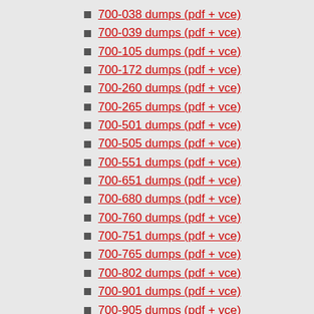700-038 dumps (pdf + vce)
700-039 dumps (pdf + vce)
700-105 dumps (pdf + vce)
700-172 dumps (pdf + vce)
700-260 dumps (pdf + vce)
700-265 dumps (pdf + vce)
700-501 dumps (pdf + vce)
700-505 dumps (pdf + vce)
700-551 dumps (pdf + vce)
700-651 dumps (pdf + vce)
700-680 dumps (pdf + vce)
700-760 dumps (pdf + vce)
700-751 dumps (pdf + vce)
700-765 dumps (pdf + vce)
700-802 dumps (pdf + vce)
700-901 dumps (pdf + vce)
700-905 dumps (pdf + vce)